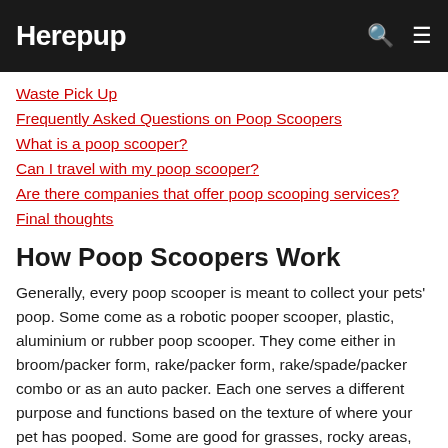Herepup
Waste Pick Up
Frequently Asked Questions on Poop Scoopers
What is a poop scooper?
Can I travel with my poop scooper?
Are there companies that offer poop scooping services?
Final thoughts
How Poop Scoopers Work
Generally, every poop scooper is meant to collect your pets' poop. Some come as a robotic pooper scooper, plastic, aluminium or rubber poop scooper. They come either in broom/packer form, rake/packer form, rake/spade/packer combo or as an auto packer. Each one serves a different purpose and functions based on the texture of where your pet has pooped. Some are good for grasses, rocky areas, wooden floors, cemented or tiled surfaces.